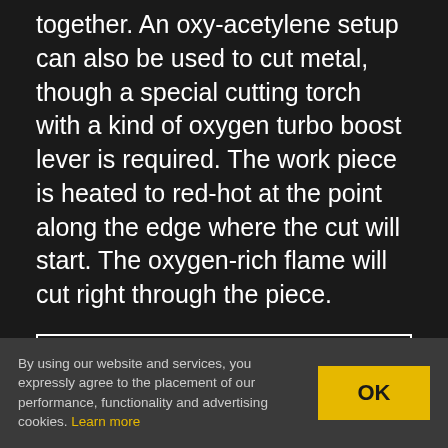together. An oxy-acetylene setup can also be used to cut metal, though a special cutting torch with a kind of oxygen turbo boost lever is required. The work piece is heated to red-hot at the point along the edge where the cut will start. The oxygen-rich flame will cut right through the piece.
CONTINUE READING →
Posted in Hackaday Columns, Retrotechtacular
Tagged 1940s, airplane frames, arc welding,
By using our website and services, you expressly agree to the placement of our performance, functionality and advertising cookies. Learn more
OK